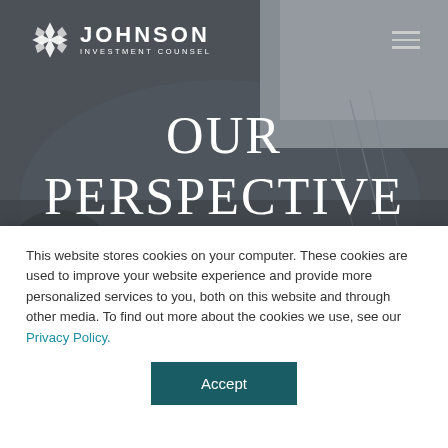[Figure (screenshot): Johnson Investment Counsel website hero section with dark/muted background photo of office/business setting]
JOHNSON INVESTMENT COUNSEL
OUR PERSPECTIVE ON INDUSTRY NEWS AND TRENDS
This website stores cookies on your computer. These cookies are used to improve your website experience and provide more personalized services to you, both on this website and through other media. To find out more about the cookies we use, see our Privacy Policy.
Accept